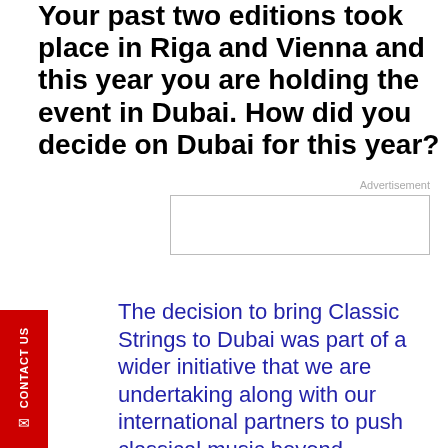Your past two editions took place in Riga and Vienna and this year you are holding the event in Dubai. How did you decide on Dubai for this year?
[Figure (other): Advertisement placeholder box with label 'Advertisement' above it]
The decision to bring Classic Strings to Dubai was part of a wider initiative that we are undertaking along with our international partners to push classical music beyond